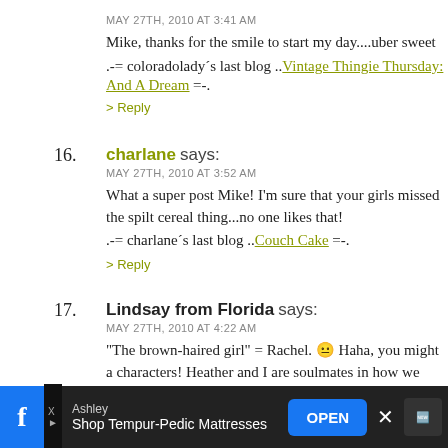MAY 27TH, 2010 AT 3:41 AM
Mike, thanks for the smile to start my day....uber sweet
.-= coloradolady´s last blog ..Vintage Thingie Thursday: And A Dream =-.
> Reply
16. charlane says:
MAY 27TH, 2010 AT 3:52 AM
What a super post Mike! I'm sure that your girls missed the spilt cereal thing...no one likes that!
.-= charlane´s last blog ..Couch Cake =-.
> Reply
17. Lindsay from Florida says:
MAY 27TH, 2010 AT 4:22 AM
"The brown-haired girl" = Rachel. 😐 Haha, you might a characters! Heather and I are soulmates in how we wat shows... I looked at her rules, and they echo mine. A so
Ashley
Shop Tempur-Pedic Mattresses
OPEN